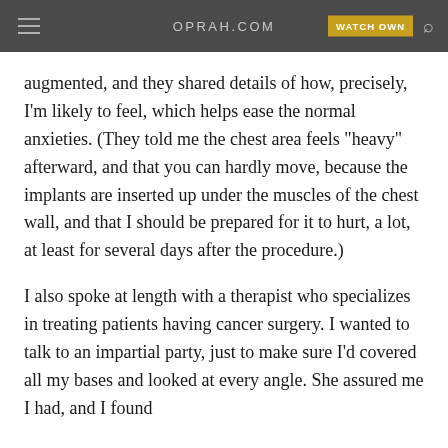OPRAH.COM | WATCH OWN
augmented, and they shared details of how, precisely, I'm likely to feel, which helps ease the normal anxieties. (They told me the chest area feels "heavy" afterward, and that you can hardly move, because the implants are inserted up under the muscles of the chest wall, and that I should be prepared for it to hurt, a lot, at least for several days after the procedure.)
I also spoke at length with a therapist who specializes in treating patients having cancer surgery. I wanted to talk to an impartial party, just to make sure I'd covered all my bases and looked at every angle. She assured me I had, and I found